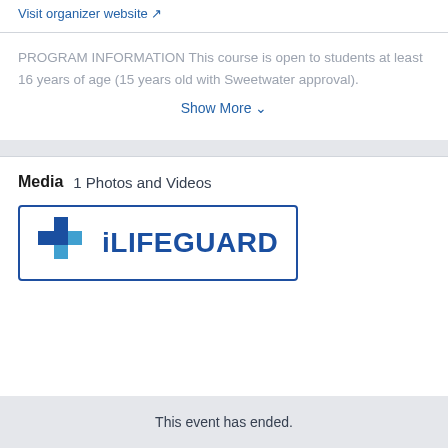Visit organizer website ↗
PROGRAM INFORMATION This course is open to students at least 16 years of age (15 years old with Sweetwater approval).
Show More ∨
Media   1 Photos and Videos
[Figure (logo): iLifeguard logo with blue cross/plus icon and bold blue text reading 'iLIFEGUARD']
This event has ended.